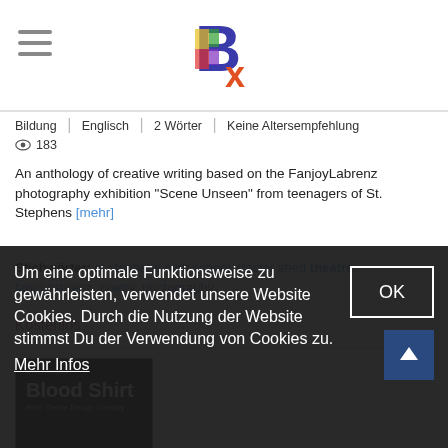Bx logo with hamburger menu
Bildung | Englisch | 2 Wörter | Keine Altersempfehlung
👁 183
An anthology of creative writing based on the FanjoyLabrenz photography exhibition "Scene Unseen" from teenagers of St. Stephens [mehr]
Stichwörter: st stephens high school, tractor shed theatre, fanjoylabrenz, poetry, photography
Kostenlos
[Figure (photo): Book cover for 'Blood Shirt' by Chris Adams - Better Theatre Through Chemistry, dark background with photography]
Um eine optimale Funktionsweise zu gewährleisten, verwendet unsere Website Cookies. Durch die Nutzung der Website stimmst Du der Verwendung von Cookies zu. Mehr Infos
Chris Adams
Blood Shirt